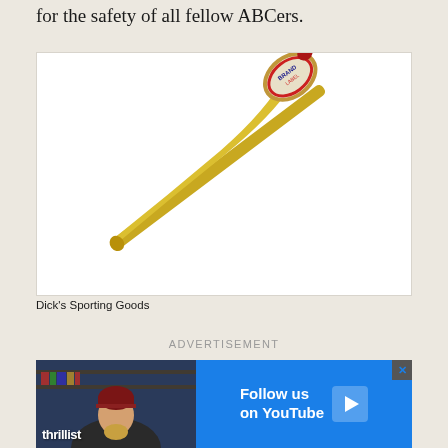for the safety of all fellow ABCers.
[Figure (photo): A yellow baseball bat with a branded label near the barrel end (appears to be a novelty or branded bat), photographed diagonally on white background. Caption credits Dick's Sporting Goods.]
Dick's Sporting Goods
ADVERTISEMENT
[Figure (other): Thrillist advertisement banner with blue background showing 'Follow us on YouTube' with a play button icon, and a person wearing a maroon beanie eating food on the left side.]